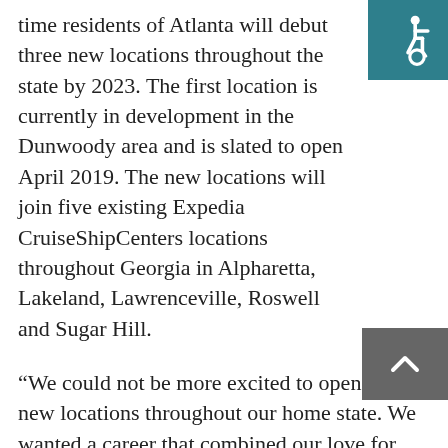[Figure (illustration): Accessibility icon (wheelchair symbol) in white on teal/dark cyan background, positioned top-right corner]
time residents of Atlanta will debut three new locations throughout the state by 2023. The first location is currently in development in the Dunwoody area and is slated to open April 2019. The new locations will join five existing Expedia CruiseShipCenters locations throughout Georgia in Alpharetta, Lakeland, Lawrenceville, Roswell and Sugar Hill.
“We could not be more excited to open our new locations throughout our home state. We wanted a career that combined our love for travel with the challenge of taking on an entrepreneurial role,” said Ayten. “With a well-known brand like Expedia
[Figure (other): Back-to-top button: dark grey rounded rectangle with upward-pointing chevron/caret arrow, positioned bottom-right]